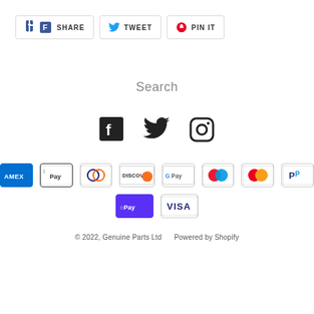[Figure (infographic): Social share buttons: Facebook SHARE, Twitter TWEET, Pinterest PIN IT]
Search
[Figure (infographic): Social media icons: Facebook, Twitter, Instagram]
[Figure (infographic): Payment method logos: American Express, Apple Pay, Diners Club, Discover, Google Pay, Maestro, Mastercard, PayPal, Shop Pay, Visa]
© 2022, Genuine Parts Ltd    Powered by Shopify